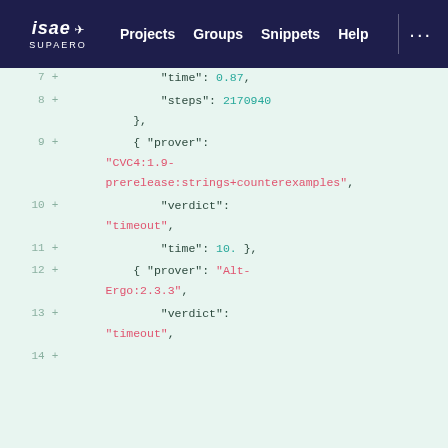ISAE SUPAERO | Projects | Groups | Snippets | Help | ...
Code diff view showing JSON content with line numbers 7-14. Lines show prover configuration including time: 0.87, steps: 2170940, prover: CVC4:1.9-prerelease:strings+counterexamples, verdict: timeout, time: 10., prover: Alt-Ergo:2.3.3, verdict: timeout